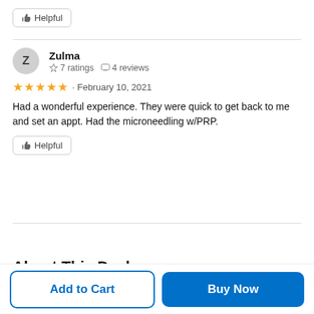Helpful (button)
Zulma
☆ 7 ratings  □ 4 reviews
★★★★★ · February 10, 2021
Had a wonderful experience. They were quick to get back to me and set an appt. Had the microneedling w/PRP.
Helpful (button)
See All Reviews
About This Deal
Add to Cart
Buy Now